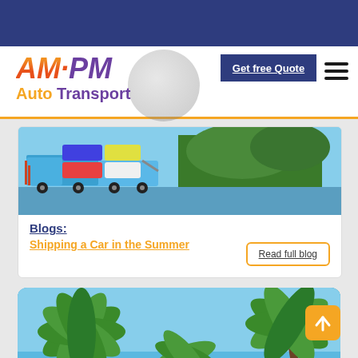[Figure (screenshot): AMPM Auto Transport website header with navy top bar, logo (AM·PM in orange/purple), Get free Quote button, and hamburger menu]
[Figure (photo): Car carrier truck loaded with vehicles near waterfront with trees in background]
Blogs:
Shipping a Car in the Summer
Read full blog
[Figure (photo): Palm trees against blue sky with Hawaii Auto Transportation text overlay]
Hawaii Auto Transportation